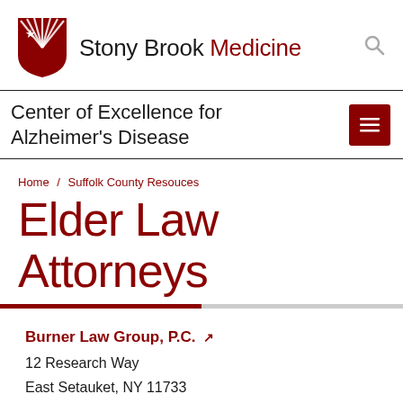[Figure (logo): Stony Brook Medicine logo with shield icon and text 'Stony Brook Medicine']
Center of Excellence for Alzheimer's Disease
Home / Suffolk County Resouces
Elder Law Attorneys
Burner Law Group, P.C.
12 Research Way
East Setauket, NY 11733
Phone: (631) 941-3434